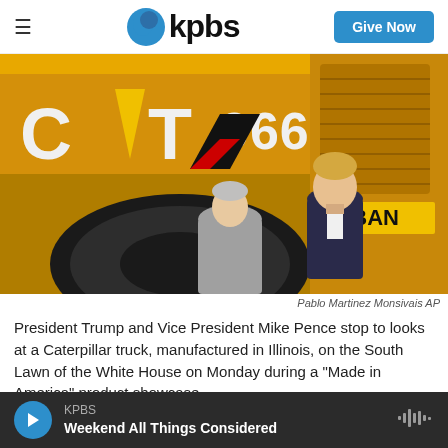KPBS — Give Now
[Figure (photo): President Trump and Vice President Mike Pence standing in front of a large yellow Caterpillar CAT 966M truck. The truck shows the CAT logo and 966M model number. A yellow sign partially reading 'ALBAN' is visible in the background. Two men are seen from behind/side viewing the truck.]
Pablo Martinez Monsivais AP
President Trump and Vice President Mike Pence stop to looks at a Caterpillar truck, manufactured in Illinois, on the South Lawn of the White House on Monday during a "Made in America" product showcase.
KPBS — Weekend All Things Considered